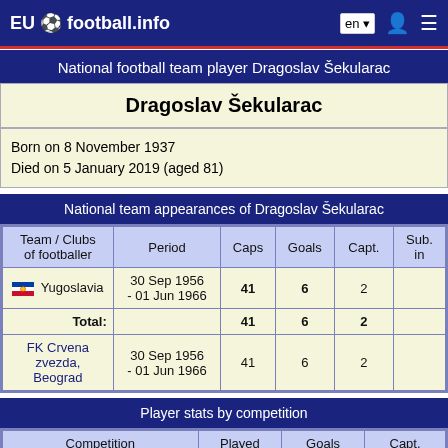EU football.info
National football team player Dragoslav Šekularac
Dragoslav Šekularac
Born on 8 November 1937
Died on 5 January 2019 (aged 81)
National team appearances of Dragoslav Šekularac
| Team / Clubs of footballer | Period | Caps | Goals | Capt. | Sub. in |
| --- | --- | --- | --- | --- | --- |
| Yugoslavia | 30 Sep 1956 - 01 Jun 1966 | 41 | 6 | 2 |  |
| Total: |  | 41 | 6 | 2 |  |
| FK Crvena zvezda, Beograd | 30 Sep 1956 - 01 Jun 1966 | 41 | 6 | 2 |  |
Player stats by competition
| Competition | Played | Goals | Capt. |
| --- | --- | --- | --- |